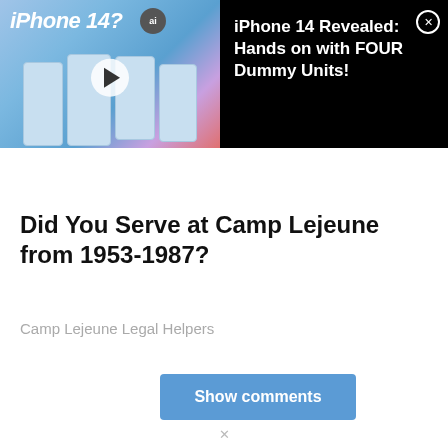[Figure (screenshot): Video ad banner for 'iPhone 14 Revealed: Hands on with FOUR Dummy Units!' showing iPhones with play button on left, black background with title text and close button on right]
Did You Serve at Camp Lejeune from 1953-1987?
Camp Lejeune Legal Helpers
Show comments